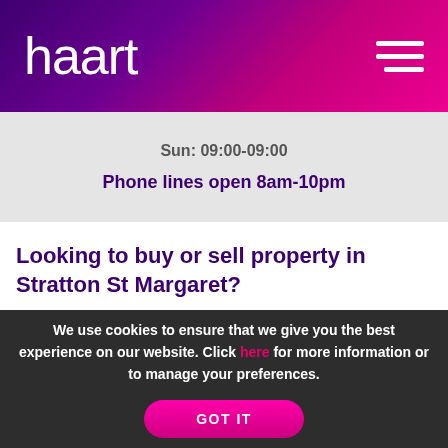haart
Sun: 09:00-09:00
Phone lines open 8am-10pm
Looking to buy or sell property in Stratton St Margaret?
We use cookies to ensure that we give you the best experience on our website. Click here for more information or to manage your preferences.
GOT IT